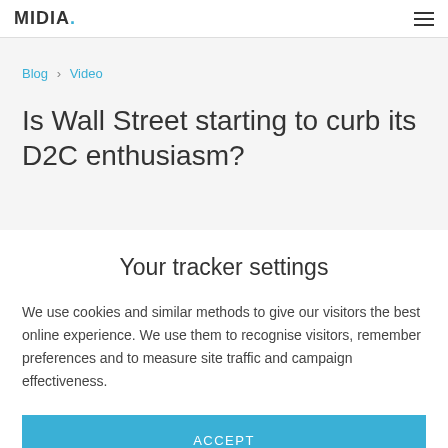MIDIA
Blog › Video
Is Wall Street starting to curb its D2C enthusiasm?
Your tracker settings
We use cookies and similar methods to give our visitors the best online experience. We use them to recognise visitors, remember preferences and to measure site traffic and campaign effectiveness.
ACCEPT